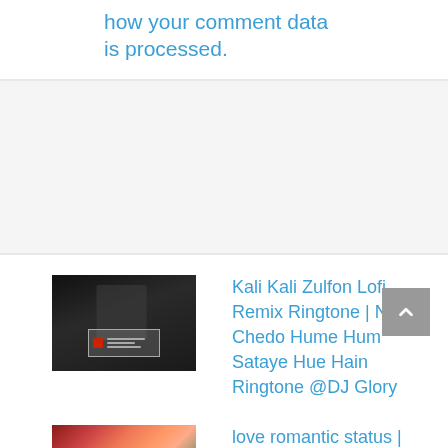how your comment data is processed.
[Figure (photo): Gray divider bar / advertisement block area]
[Figure (photo): Black and white thumbnail image of a person with a music player overlay - Kali Kali Zulfon Lofi Remix]
Kali Kali Zulfon Lofi Remix Ringtone | Na Chedo Hume Hum Sataye Hue Hain Ringtone @DJ Glory
[Figure (photo): Colorful thumbnail image for love romantic status]
love romantic status |